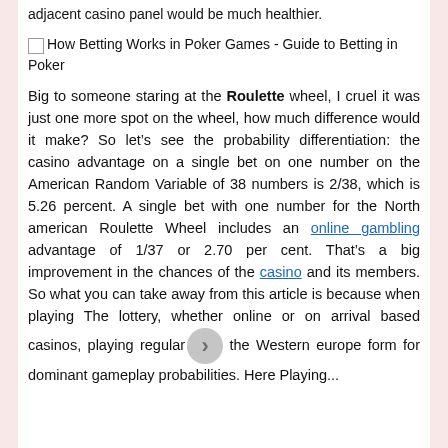adjacent casino panel would be much healthier.
[Figure (photo): Broken image placeholder with alt text: How Betting Works in Poker Games - Guide to Betting in Poker]
Big to someone staring at the Roulette wheel, I cruel it was just one more spot on the wheel, how much difference would it make? So let’s see the probability differentiation: the casino advantage on a single bet on one number on the American Random Variable of 38 numbers is 2/38, which is 5.26 percent. A single bet with one number for the North american Roulette Wheel includes an online gambling advantage of 1/37 or 2.70 per cent. That’s a big improvement in the chances of the casino and its members. So what you can take away from this article is because when playing The lottery, whether online or on arrival based casinos, playing regular the Western europe form for dominant gameplay probabilities. Here Playing...